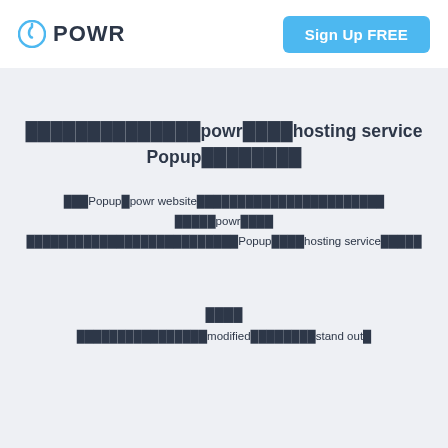POWR  Sign Up FREE
██████████████powr████hosting service Popup████████
███Popup█powr website████████████████████ █████powr████ ████████████████████████Popup████hosting service█████
████
████████████████modified████████stand out█